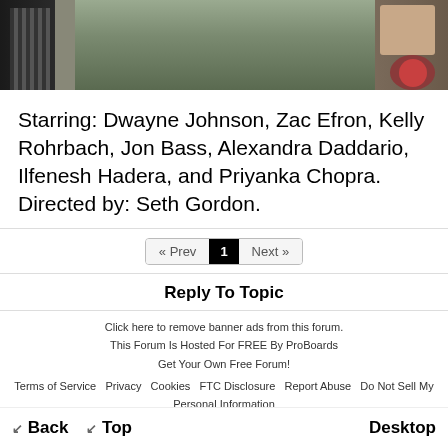[Figure (photo): Photo of a person standing in front of bookshelves/video store shelves with DVDs and other media]
Starring: Dwayne Johnson, Zac Efron, Kelly Rohrbach, Jon Bass, Alexandra Daddario, Ilfenesh Hadera, and Priyanka Chopra. Directed by: Seth Gordon.
« Prev  1  Next »
Reply To Topic
Click here to remove banner ads from this forum.
This Forum Is Hosted For FREE By ProBoards
Get Your Own Free Forum!
Terms of Service   Privacy   Cookies   FTC Disclosure   Report Abuse   Do Not Sell My Personal Information
↙ Back   ↙ Top   Desktop